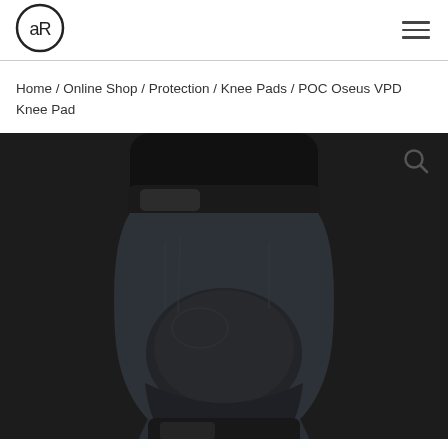[Figure (logo): Circular logo with stylized 'aR' letters inside a circle outline]
Navigation header with logo and hamburger menu
Home / Online Shop / Protection / Knee Pads / POC Oseus VPD Knee Pad
[Figure (photo): Close-up photo of a black POC Oseus VPD knee pad with textured fabric, velcro fastening at top and bottom, and a hard protective cap over the knee area, photographed against a dark background]